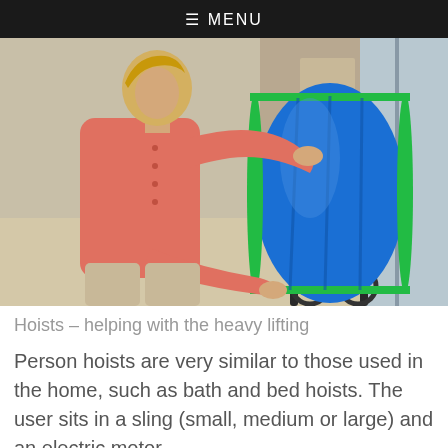≡ MENU
[Figure (photo): A woman in a pink cardigan placing a blue and green sling/hoist fabric onto a wheelchair, in a home environment.]
Hoists – helping with the heavy lifting
Person hoists are very similar to those used in the home, such as bath and bed hoists. The user sits in a sling (small, medium or large) and an electric motor